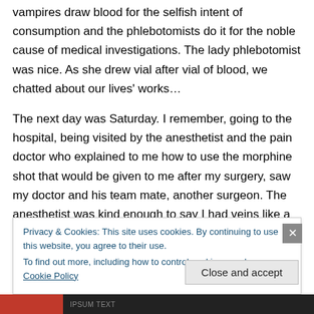vampires draw blood for the selfish intent of consumption and the phlebotomists do it for the noble cause of medical investigations. The lady phlebotomist was nice. As she drew vial after vial of blood, we chatted about our lives' works…
The next day was Saturday. I remember, going to the hospital, being visited by the anesthetist and the pain doctor who explained to me how to use the morphine shot that would be given to me after my surgery, saw my doctor and his team mate, another surgeon. The anesthetist was kind enough to say I had veins like a lady as he found
Privacy & Cookies: This site uses cookies. By continuing to use this website, you agree to their use.
To find out more, including how to control cookies, see here: Cookie Policy
Close and accept